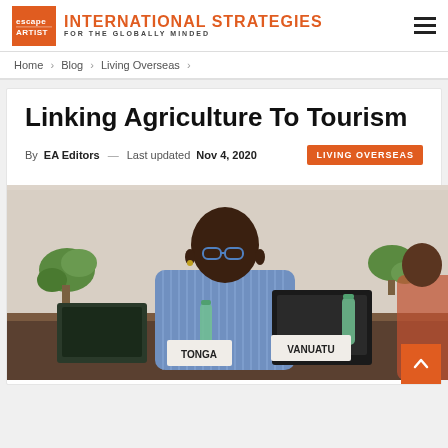INTERNATIONAL STRATEGIES FOR THE GLOBALLY MINDED
Home > Blog > Living Overseas >
Linking Agriculture To Tourism
By EA Editors — Last updated Nov 4, 2020 | LIVING OVERSEAS
[Figure (photo): Man in blue striped shirt sitting at a conference table with name placards reading TONGA and VANUATU, laptops and water bottles visible, plants in background.]